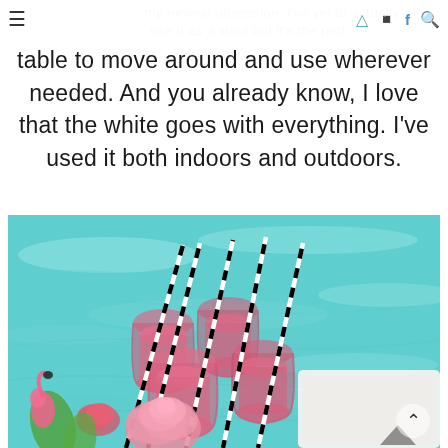my newest obsession. I've yet to actually use it as a stool but it's the perfect little
table to move around and use wherever needed. And you already know, I love that the white goes with everything. I've used it both indoors and outdoors.
[Figure (photo): Photo of pink drinks in patterned glasses with black and white striped straws, floating on a clear blue swimming pool, with pink roses and flamingo decorations visible at the bottom left, and a white surface/table at the bottom right.]